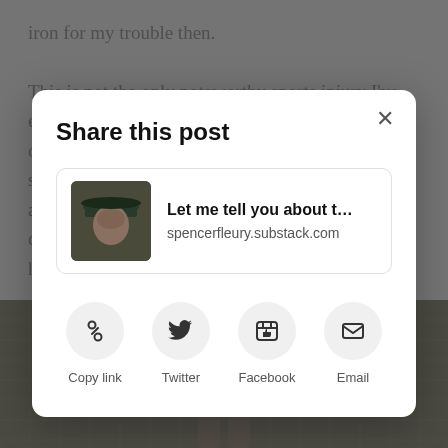iron for my trouble then.
This is not the only noteworthy sports injury I've ever had. I also tore up my knee playing soccer once when I h... st... al... co... h...
[Figure (screenshot): Share this post modal dialog with post card preview showing 'Let me tell you about t...' from spencerfleury.substack.com, and four share buttons: Copy link, Twitter, Facebook, Email]
[Figure (photo): Background photo showing person in yellow shirt near a net or fence structure]